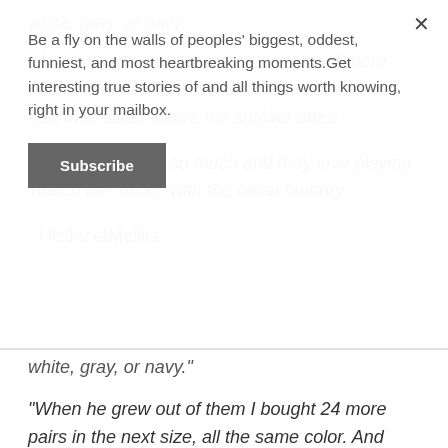Be a fly on the walls of peoples' biggest, oddest, funniest, and most heartbreaking moments.Get interesting true stories of and all things worth knowing, right in your mailbox.
Subscribe
white, gray, or navy."
"When he grew out of them I bought 24 more pairs in the next size, all the same color. And now little sister wears the smaller ones."
"Simplifies things so much and they love playing 'match the socks' with the clean laundry."
- HicJacetMelilla